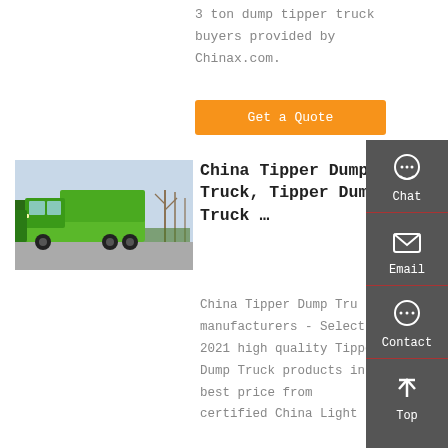3 ton dump tipper truck buyers provided by Chinax.com.
Get a Quote
[Figure (photo): Green tipper dump trucks parked in a lot, outdoor setting with bare trees and a green fence in the background.]
China Tipper Dump Truck, Tipper Dump Truck …
China Tipper Dump Truck manufacturers - Select 2021 high quality Tipper Dump Truck products in best price from certified China Light
[Figure (infographic): Right sidebar with dark grey background containing Chat, Email, Contact, and Top navigation items with icons.]